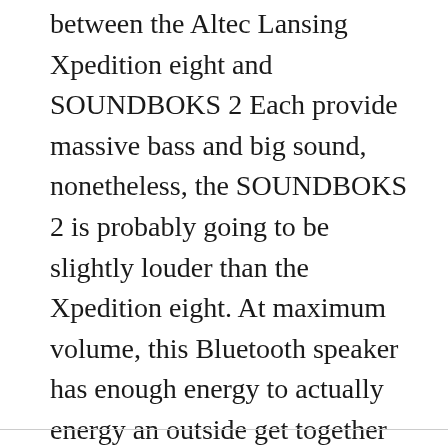between the Altec Lansing Xpedition eight and SOUNDBOKS 2 Each provide massive bass and big sound, nonetheless, the SOUNDBOKS 2 is probably going to be slightly louder than the Xpedition eight. At maximum volume, this Bluetooth speaker has enough energy to actually energy an outside get together live performance. So if you wish to make Home windows 7 quantity louder than 100%, give it a try. Oh and by the way in which, for those who did this and music nonetheless sounds quiet, it is best to test to see if you happen to set a maximum quantity limit in iOS Music sooner or later in time, since which will restrict the sound quantity output of iPad speakers and iPhone speaker.